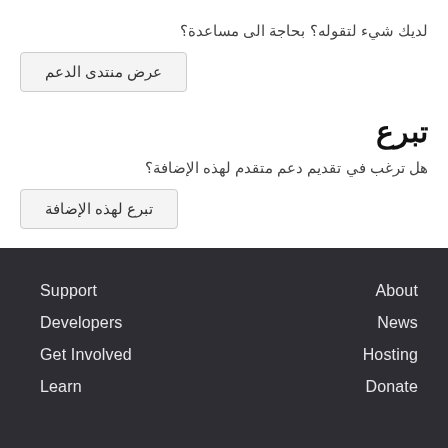لديك شيء لتقوله؟ بحاجة الى مساعدة؟
عرض منتدى الدعم
تبرع
هل ترغب في تقديم دعم متقدم لهذه الإضافة؟
تبرع لهذه الإضافة
Support | Developers | Get Involved | Learn | About | News | Hosting | Donate